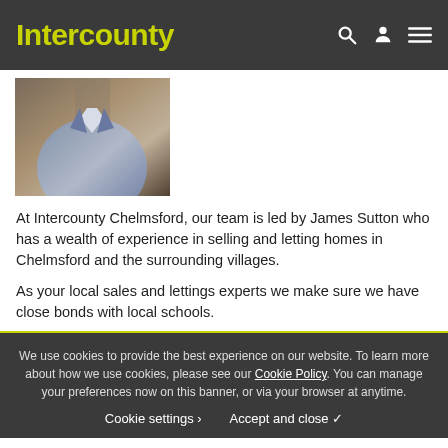Intercounty
[Figure (photo): Partial photo of a person in a jacket/suit, cropped at the torso]
At Intercounty Chelmsford, our team is led by James Sutton who has a wealth of experience in selling and letting homes in Chelmsford and the surrounding villages.
As your local sales and lettings experts we make sure we have close bonds with local schools.
We use cookies to provide the best experience on our website. To learn more about how we use cookies, please see our Cookie Policy. You can manage your preferences now on this banner, or via your browser at anytime.
Cookie settings   Accept and close